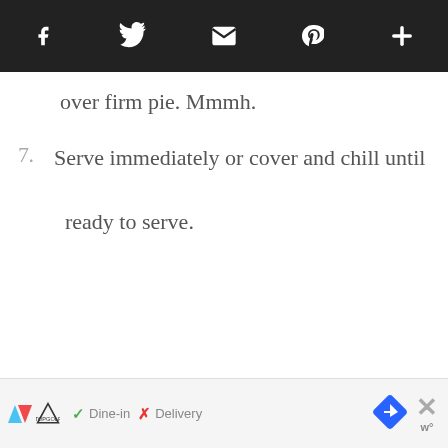Social share toolbar with icons: Facebook, Twitter, Email, Pinterest, More
over firm pie. Mmmh.
7. Serve immediately or cover and chill until ready to serve.
[Figure (screenshot): Advertisement bar at bottom showing Topgolf logo, checkmark Dine-in, X Delivery, blue navigation arrow icon, and close X button with W logo]